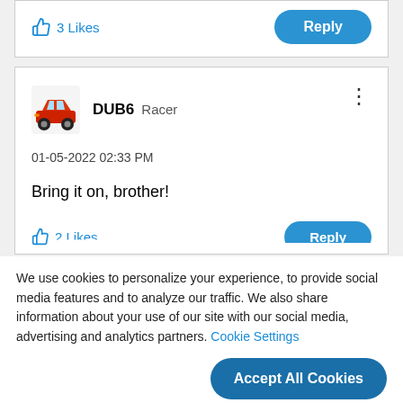[Figure (other): Partial comment card showing 3 Likes and a Reply button]
[Figure (other): Car cartoon avatar for user DUB6]
DUB6  Racer
01-05-2022 02:33 PM
Bring it on, brother!
We use cookies to personalize your experience, to provide social media features and to analyze our traffic. We also share information about your use of our site with our social media, advertising and analytics partners. Cookie Settings
Accept All Cookies